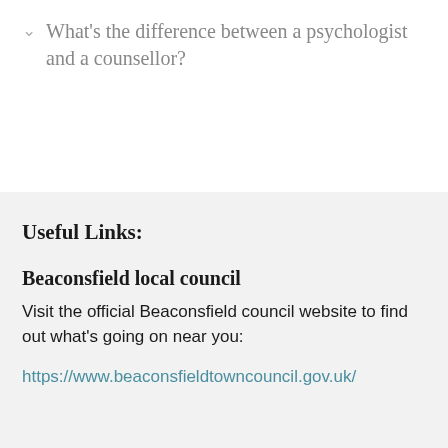What's the difference between a psychologist and a counsellor?
Useful Links:
Beaconsfield local council
Visit the official Beaconsfield council website to find out what's going on near you:
https://www.beaconsfieldtowncouncil.gov.uk/